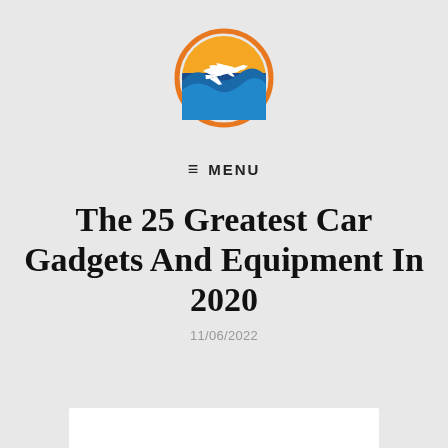[Figure (logo): Circular travel/aviation logo with airplane silhouette, orange gradient top half, blue wave bottom half, orange ring border]
≡ MENU
The 25 Greatest Car Gadgets And Equipment In 2020
11/06/2022